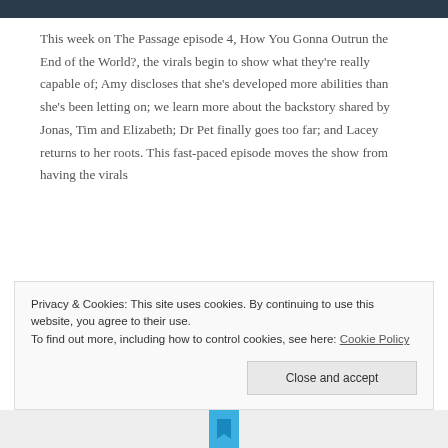[Figure (photo): Dark image bar at top of page, partial screenshot of a TV show]
This week on The Passage episode 4, How You Gonna Outrun the End of the World?, the virals begin to show what they're really capable of; Amy discloses that she's developed more abilities than she's been letting on; we learn more about the backstory shared by Jonas, Tim and Elizabeth; Dr Pet finally goes too far; and Lacey returns to her roots. This fast-paced episode moves the show from having the virals
Privacy & Cookies: This site uses cookies. By continuing to use this website, you agree to their use.
To find out more, including how to control cookies, see here: Cookie Policy
Close and accept